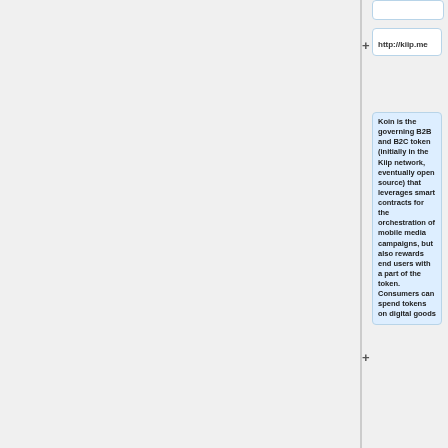http://kiip.me
Koin is the governing B2B and B2C token (initially in the Kiip network, eventually open source) that leverages smart contracts for the orchestration of mobile media campaigns, but also rewards end users with a part of the token. Consumers can spend tokens on digital goods